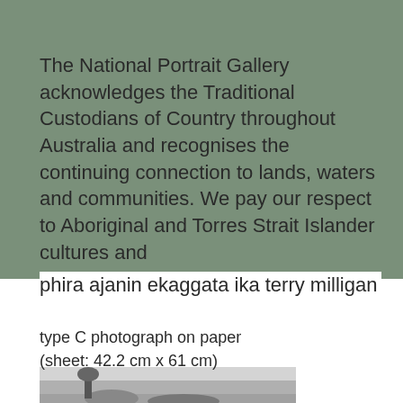The National Portrait Gallery acknowledges the Traditional Custodians of Country throughout Australia and recognises the continuing connection to lands, waters and communities. We pay our respect to Aboriginal and Torres Strait Islander cultures and
phira ajanin ekaggata ika terry milligan
type C photograph on paper
(sheet: 42.2 cm x 61 cm)
[Figure (photo): Black and white photograph showing a person in an outdoor landscape setting, partially visible at the bottom of the page]